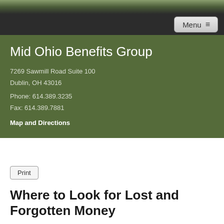Menu
Mid Ohio Benefits Group
7269 Sawmill Road Suite 100
Dublin, OH 43016

Phone: 614.389.3235

Fax: 614.389.7881

Map and Directions
Where to Look for Lost and Forgotten Money
If you get a call or text regarding unclaimed property that may belong to you, it's probably from scammers trying to collect information about you and your finances. Many people lose track of old